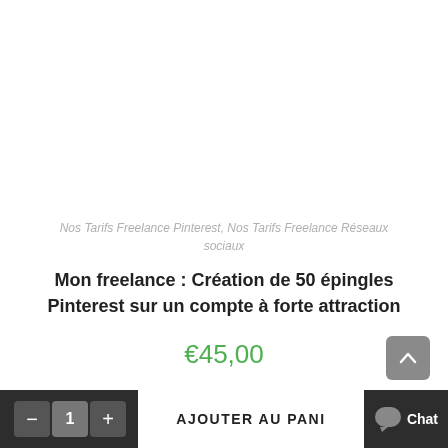Nos Tarifs Freelance Pinterest, Nos Tarifs Freelance Réseaux sociaux
Mon freelance : Création de 50 épingles Pinterest sur un compte à forte attraction
€45,00
AJOUTER AU PANIER
Chat